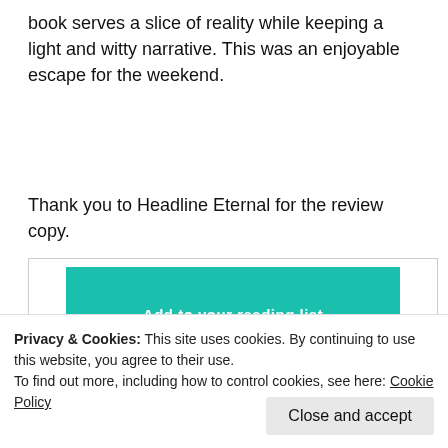book serves a slice of reality while keeping a light and witty narrative. This was an enjoyable escape for the weekend.
Thank you to Headline Eternal for the review copy.
[Figure (screenshot): A teal/green book widget banner with white bold text partially visible]
Privacy & Cookies: This site uses cookies. By continuing to use this website, you agree to their use.
To find out more, including how to control cookies, see here: Cookie Policy
Close and accept